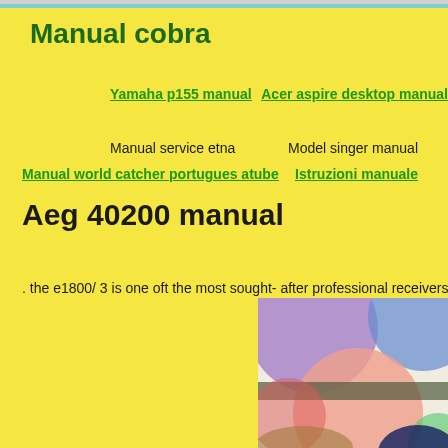Manual cobra
Yamaha p155 manual
Acer aspire desktop manual
Manual service etna
Model singer manual
Manual world catcher portugues atube
Istruzioni manuale
Aeg 40200 manual
. the e1800/ 3 is one oft the most sought- after professional receivers. öko favorit 4030
[Figure (illustration): Abstract colorful illustration with overlapping circles in purple, blue, pink, salmon, and green tones on a light background, with a dark horizontal band.]